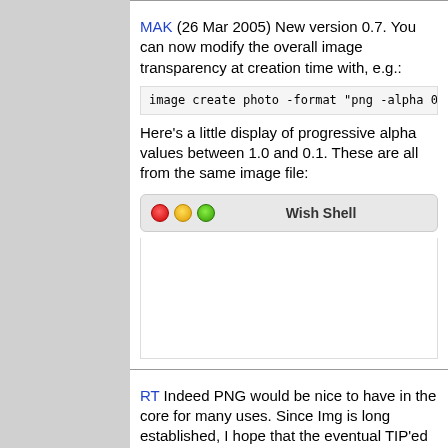MAK (26 Mar 2005) New version 0.7. You can now modify the overall image transparency at creation time with, e.g.:
Here's a little display of progressive alpha values between 1.0 and 0.1. These are all from the same image file:
[Figure (screenshot): Wish Shell window title bar with red, yellow, and green traffic light buttons]
RT Indeed PNG would be nice to have in the core for many uses. Since Img is long established, I hope that the eventual TIP'ed implementation will be such that the user can still choose the Img PNG code for peace of mind. IOW, PNG in the core shouldn't prevent opting to use the Img extension's PNG. Thanks, Roy Terry, 27Mar05